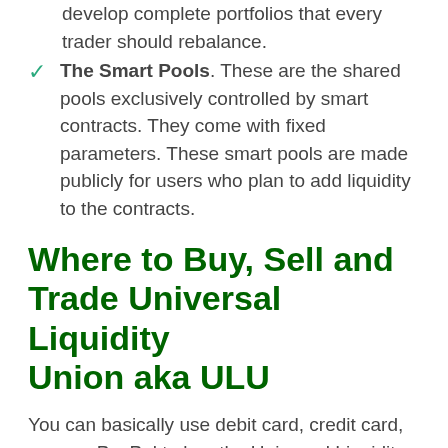develop complete portfolios that every trader should rebalance.
The Smart Pools. These are the shared pools exclusively controlled by smart contracts. They come with fixed parameters. These smart pools are made publicly for users who plan to add liquidity to the contracts.
Where to Buy, Sell and Trade Universal Liquidity Union aka ULU
You can basically use debit card, credit card, or even PayPal to buy the Universal Liquidity Union (or any other cryptocurrencies). However, the transaction won't be direct. It's not like you pay with cash and you get the Universal Liquidity Union as the exchange.